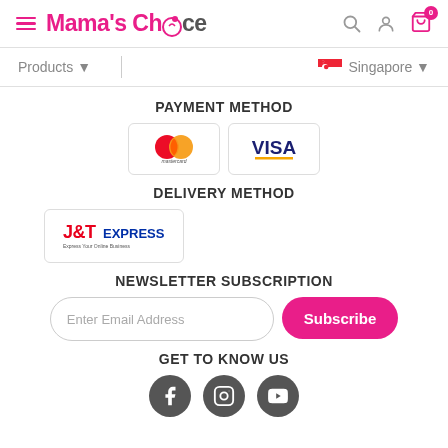Mama's Choice - Navigation header with hamburger menu, logo, search, user, and cart icons
Products ▼   |   🇸🇬 Singapore ▼
PAYMENT METHOD
[Figure (logo): Mastercard logo (two overlapping circles, red and orange/yellow) with 'mastercard' text below]
[Figure (logo): VISA logo in dark blue with yellow underline]
DELIVERY METHOD
[Figure (logo): J&T Express logo in red and blue with tagline 'Express Your Online Business']
NEWSLETTER SUBSCRIPTION
Enter Email Address
Subscribe
GET TO KNOW US
[Figure (logo): Facebook, Instagram, YouTube social media icons as grey circles]